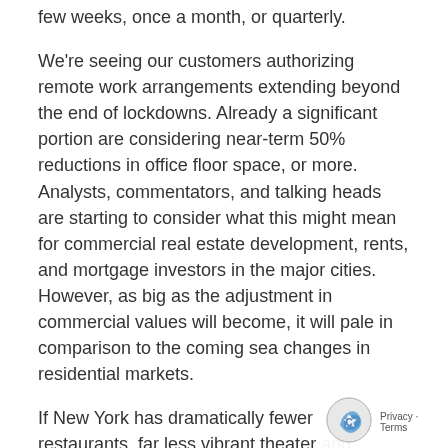few weeks, once a month, or quarterly.
We're seeing our customers authorizing remote work arrangements extending beyond the end of lockdowns. Already a significant portion are considering near-term 50% reductions in office floor space, or more. Analysts, commentators, and talking heads are starting to consider what this might mean for commercial real estate development, rents, and mortgage investors in the major cities. However, as big as the adjustment in commercial values will become, it will pale in comparison to the coming sea changes in residential markets.
If New York has dramatically fewer restaurants, far less vibrant theater and more restricted social activity in general,